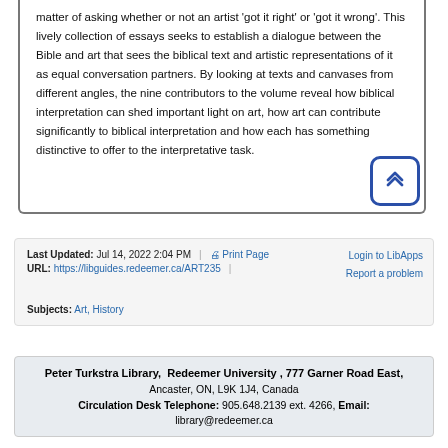matter of asking whether or not an artist 'got it right' or 'got it wrong'. This lively collection of essays seeks to establish a dialogue between the Bible and art that sees the biblical text and artistic representations of it as equal conversation partners. By looking at texts and canvases from different angles, the nine contributors to the volume reveal how biblical interpretation can shed important light on art, how art can contribute significantly to biblical interpretation and how each has something distinctive to offer to the interpretative task.
Last Updated: Jul 14, 2022 2:04 PM | URL: https://libguides.redeemer.ca/ART235 | Print Page | Login to LibApps | Report a problem | Subjects: Art, History
Peter Turkstra Library, Redeemer University , 777 Garner Road East, Ancaster, ON, L9K 1J4, Canada Circulation Desk Telephone: 905.648.2139 ext. 4266, Email: library@redeemer.ca